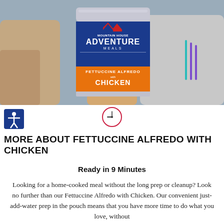[Figure (photo): Person holding a Mountain House Adventure Meals Fettuccine Alfredo with Chicken pouch outdoors with other people in the background]
[Figure (illustration): Accessibility icon (stick figure with arms out) in blue square]
[Figure (illustration): Clock icon — circle with hands showing approximately 9 o'clock, outlined in red/pink]
MORE ABOUT FETTUCCINE ALFREDO WITH CHICKEN
Ready in 9 Minutes
Looking for a home-cooked meal without the long prep or cleanup? Look no further than our Fettuccine Alfredo with Chicken. Our convenient just-add-water prep in the pouch means that you have more time to do what you love, without